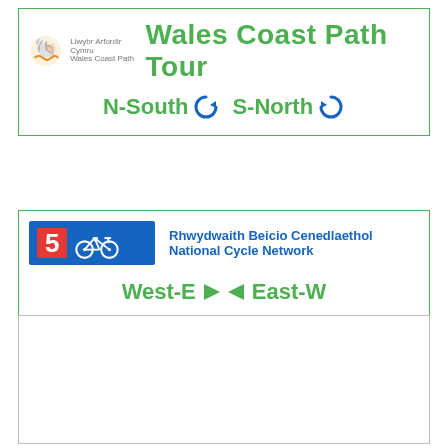[Figure (infographic): Wales Coast Path Tour sign with logo, Welsh and English text, and N-South / S-North direction arrows with circular icons]
[Figure (infographic): National Cycle Network Route 5 sign with blue badge showing number 5 and bicycle icon, Welsh and English text, and West-E / East-W direction arrows]
[Figure (other): Empty white box with light grey border]